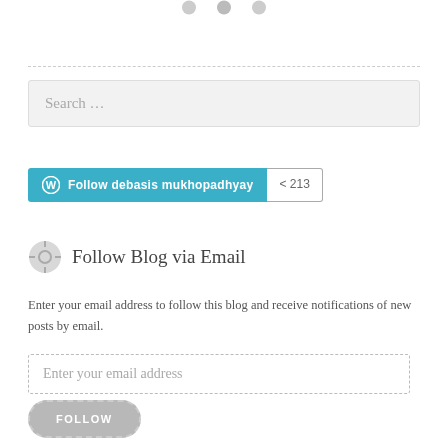[Figure (other): Partial view of circular social media icon buttons at top of page]
Search ...
Follow debasis mukhopadhyay  213
Follow Blog via Email
Enter your email address to follow this blog and receive notifications of new posts by email.
Enter your email address
FOLLOW